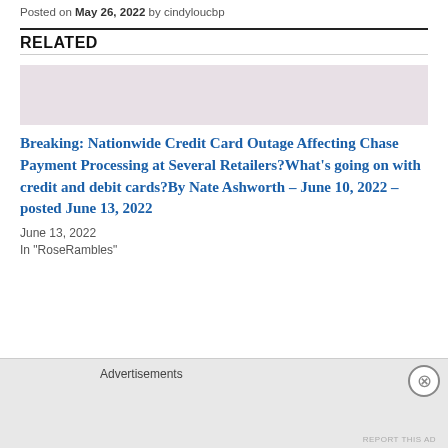Posted on May 26, 2022 by cindyloucbp
RELATED
Breaking: Nationwide Credit Card Outage Affecting Chase Payment Processing at Several Retailers?What's going on with credit and debit cards?By Nate Ashworth – June 10, 2022 – posted June 13, 2022
June 13, 2022
In "RoseRambles"
Advertisements